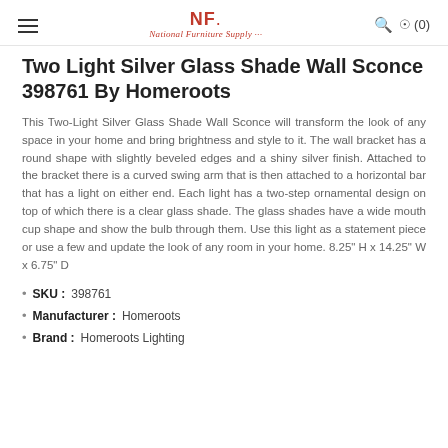NF National Furniture Supply (0)
Two Light Silver Glass Shade Wall Sconce 398761 By Homeroots
This Two-Light Silver Glass Shade Wall Sconce will transform the look of any space in your home and bring brightness and style to it. The wall bracket has a round shape with slightly beveled edges and a shiny silver finish. Attached to the bracket there is a curved swing arm that is then attached to a horizontal bar that has a light on either end. Each light has a two-step ornamental design on top of which there is a clear glass shade. The glass shades have a wide mouth cup shape and show the bulb through them. Use this light as a statement piece or use a few and update the look of any room in your home. 8.25" H x 14.25" W x 6.75" D
SKU : 398761
Manufacturer : Homeroots
Brand : Homeroots Lighting